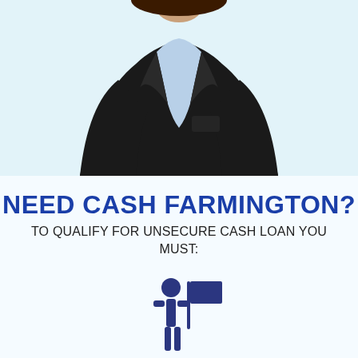[Figure (photo): Cropped photo of a woman in a dark business suit with a light blue shirt, shown from chest up against a light blue/white background.]
NEED CASH FARMINGTON?
TO QUALIFY FOR UNSECURE CASH LOAN YOU MUST:
[Figure (illustration): Dark blue icon of a person (stick figure) standing next to a flag/sign, representing employment or job status.]